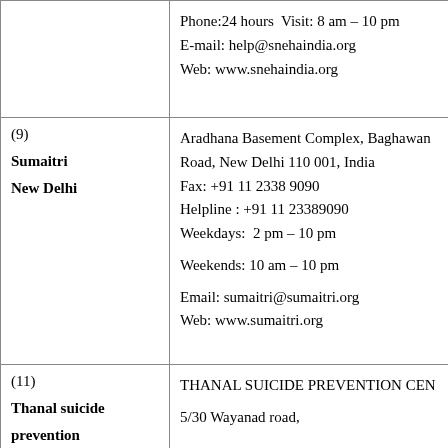|  | Phone:24 hours  Visit: 8 am – 10 pm
E-mail: help@snehaindia.org
Web: www.snehaindia.org |
| (9)
Sumaitri
New Delhi | Aradhana Basement Complex, Baghawan Road, New Delhi 110 001, India
Fax: +91 11 2338 9090
Helpline : +91 11 23389090
Weekdays:  2 pm – 10 pm
Weekends: 10 am – 10 pm
Email: sumaitri@sumaitri.org
Web: www.sumaitri.org |
| (11)
Thanal suicide prevention | THANAL SUICIDE PREVENTION CEN
5/30 Wayanad road, |